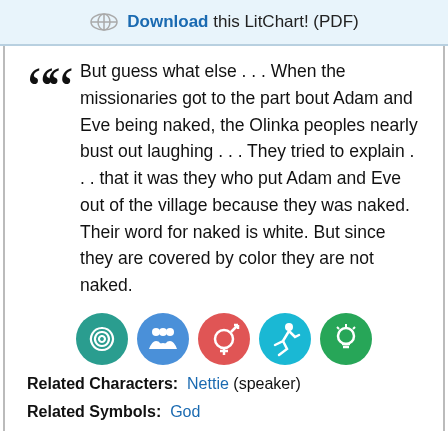Download this LitChart! (PDF)
But guess what else . . . When the missionaries got to the part bout Adam and Eve being naked, the Olinka peoples nearly bust out laughing . . . They tried to explain . . . that it was they who put Adam and Eve out of the village because they was naked. Their word for naked is white. But since they are covered by color they are not naked.
[Figure (infographic): Five colored circular icons representing themes: teal spiral (cycles), blue people (community/family), red gender symbol (gender), cyan running figure (action/change), green lightbulb/figure (knowledge/ideas)]
Related Characters: Nettie (speaker)
Related Symbols: God